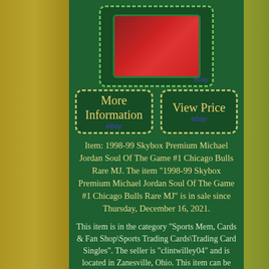[Figure (photo): eBay listing screenshot showing a graded basketball card (Michael Jordan) in a green-bordered holder, displayed on a dark green background]
[Figure (screenshot): More Information button with eBay branding, dashed border on dark green background]
[Figure (screenshot): View Price button with eBay branding, dashed border on dark green background]
Item: 1998-99 Skybox Premium Michael Jordan Soul Of The Game #1 Chicago Bulls Rare MJ. The item "1998-99 Skybox Premium Michael Jordan Soul Of The Game #1 Chicago Bulls Rare MJ" is in sale since Thursday, December 16, 2021.
This item is in the category "Sports Mem, Cards & Fan Shop\Sports Trading Cards\Trading Card Singles". The seller is "clintwilley04" and is located in Zanesville, Ohio. This item can be shipped to United States, Canada, United Kingdom, Denmark, Romania, Slovakia, Bulgaria, Czech republic, Finland, Hungary,